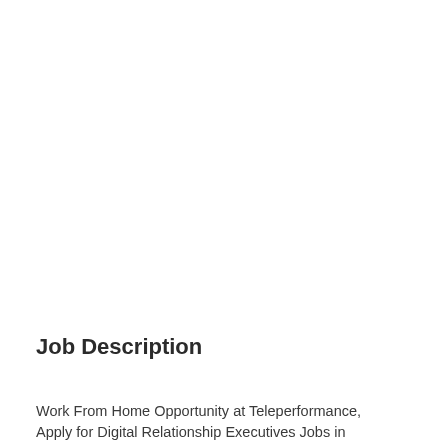Job Description
Work From Home Opportunity at Teleperformance, Apply for Digital Relationship Executives Jobs in